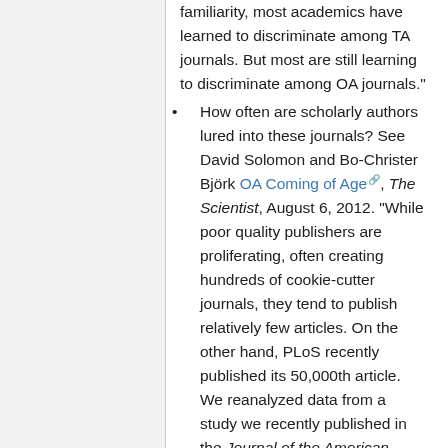familiarity, most academics have learned to discriminate among TA journals. But most are still learning to discriminate among OA journals."
How often are scholarly authors lured into these journals? See David Solomon and Bo-Christer Björk OA Coming of Age, The Scientist, August 6, 2012. "While poor quality publishers are proliferating, often creating hundreds of cookie-cutter journals, they tend to publish relatively few articles. On the other hand, PLoS recently published its 50,000th article. We reanalyzed data from a study we recently published in the Journal of the American Society for Information Science and